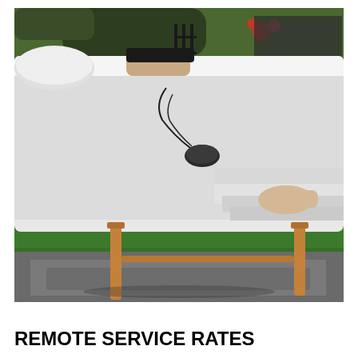[Figure (photo): Outdoor massage table covered with white sheets and draping, set up on green artificial turf with a grey mat underneath. Wooden table legs visible. A black massage tool rests on the table. Background shows trees, red flowers, and patio furniture in a garden setting.]
REMOTE SERVICE RATES